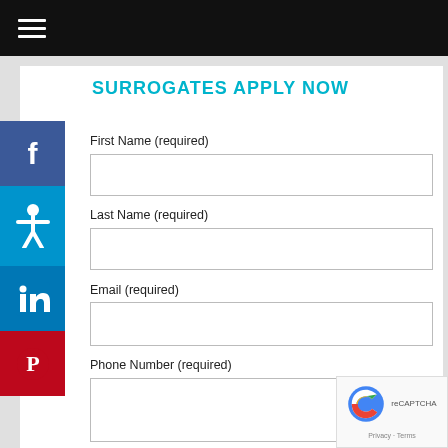≡ (hamburger menu / navigation bar)
SURROGATES APPLY NOW
First Name (required)
Last Name (required)
Email (required)
Phone Number (required)
[Figure (screenshot): Social media sidebar with Facebook, Accessibility, LinkedIn, and Pinterest icons on the left side of the page]